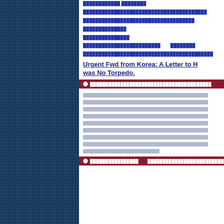[redacted content - multiple lines of redacted/blocked text links]
Urgent Fwd from Korea: A Letter to H[...] was No Torpedo.
[redacted bullet item]
[multiple redacted text lines]
[redacted bullet item with redacted content]